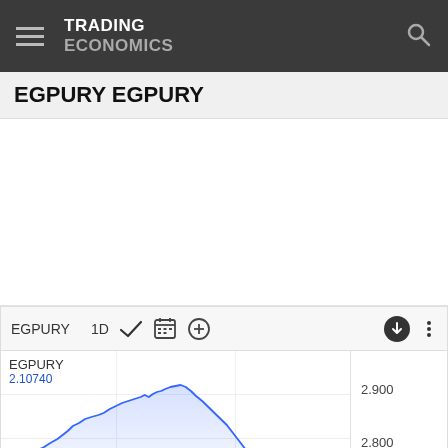TRADING ECONOMICS
EGPURY EGPURY
[Figure (continuous-plot): Line chart of EGPURY currency pair, showing price movement with a peak around 2.900 and current value of 2.10740. Chart toolbar shows 1D timeframe with calendar, plus, download, and more options.]